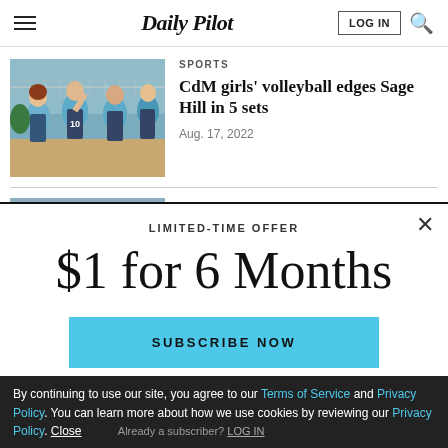Daily Pilot — LOG IN | Search
[Figure (photo): Girls volleyball team players in light blue jerseys celebrating with high fives at the net]
SPORTS
CdM girls' volleyball edges Sage Hill in 5 sets
Aug. 17, 2022
SPORTS
LIMITED-TIME OFFER
$1 for 6 Months
SUBSCRIBE NOW
By continuing to use our site, you agree to our Terms of Service and Privacy Policy. You can learn more about how we use cookies by reviewing our Privacy Policy. Close
Already a subscriber? LOG IN